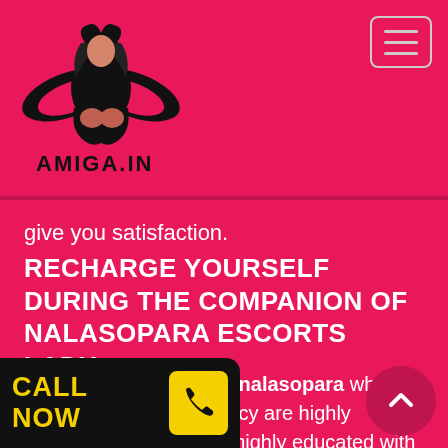Amiga.in — logo and navigation header
give you satisfaction.
RECHARGE YOURSELF DURING THE COMPANION OF NALASOPARA ESCORTS LADY
The Female escorts in nalasopara who work for the escort agency are highly qualified girls and have highly educated with the professionalism of the escorts to seduce the customer and he only wants his The customer will breathe a sigh of relief and these girls will do their best to please the customer. These girls are so proficient in their services that you don't need to t what service you expect from these girls and the s ring their services. All of th gencies some of the best escorts in this city and why people want escort